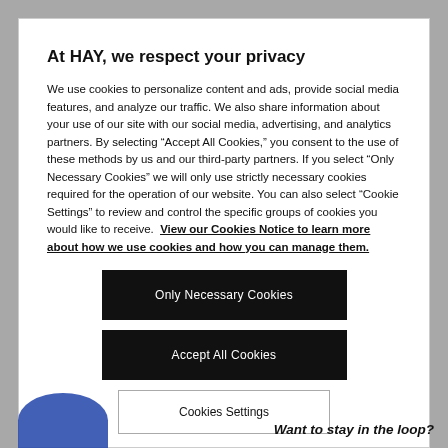At HAY, we respect your privacy
We use cookies to personalize content and ads, provide social media features, and analyze our traffic. We also share information about your use of our site with our social media, advertising, and analytics partners. By selecting “Accept All Cookies,” you consent to the use of these methods by us and our third-party partners. If you select "Only Necessary Cookies" we will only use strictly necessary cookies required for the operation of our website. You can also select "Cookie Settings" to review and control the specific groups of cookies you would like to receive. View our Cookies Notice to learn more about how we use cookies and how you can manage them.
Only Necessary Cookies
Accept All Cookies
Cookies Settings
Want to stay in the loop?